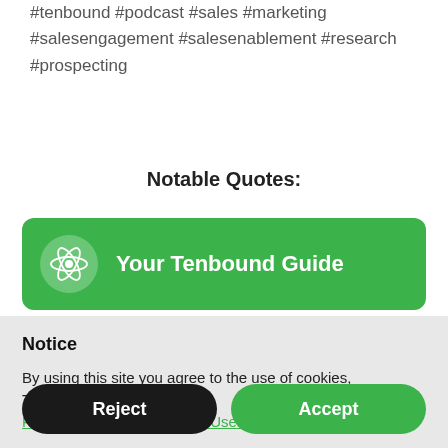#tenbound #podcast #sales #marketing #salesengagement #salesenablement #research #prospecting
Notable Quotes:
[Figure (other): Green card with Tenbound atom logo and text 'Your Tenbound Guide']
Notice
By using this site you agree to the use of cookies, Tenbound's Privacy Policy and Terms of Use.
Reject
Accept